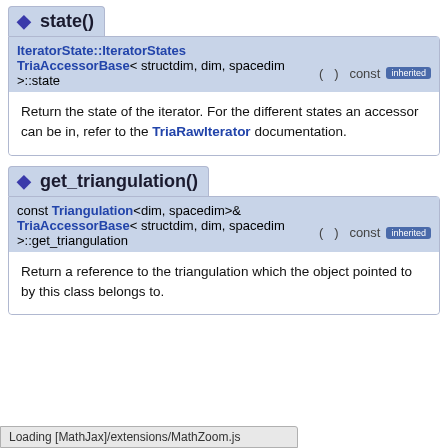◆ state()
IteratorState::IteratorStates TriaAccessorBase< structdim, dim, spacedim >::state ( ) const [inherited]
Return the state of the iterator. For the different states an accessor can be in, refer to the TriaRawIterator documentation.
◆ get_triangulation()
const Triangulation<dim, spacedim>& TriaAccessorBase< structdim, dim, spacedim >::get_triangulation ( ) const [inherited]
Return a reference to the triangulation which the object pointed to by this class belongs to.
Loading [MathJax]/extensions/MathZoom.js